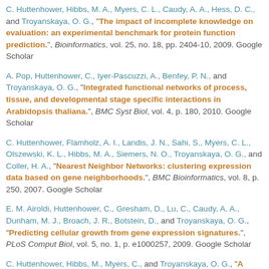C. Huttenhower, Hibbs, M. A., Myers, C. L., Caudy, A. A., Hess, D. C., and Troyanskaya, O. G., "The impact of incomplete knowledge on evaluation: an experimental benchmark for protein function prediction.", Bioinformatics, vol. 25, no. 18, pp. 2404-10, 2009. Google Scholar
A. Pop, Huttenhower, C., Iyer-Pascuzzi, A., Benfey, P. N., and Troyanskaya, O. G., "Integrated functional networks of process, tissue, and developmental stage specific interactions in Arabidopsis thaliana.", BMC Syst Biol, vol. 4, p. 180, 2010. Google Scholar
C. Huttenhower, Flamholz, A. I., Landis, J. N., Sahi, S., Myers, C. L., Olszewski, K. L., Hibbs, M. A., Siemers, N. O., Troyanskaya, O. G., and Coller, H. A., "Nearest Neighbor Networks: clustering expression data based on gene neighborhoods.", BMC Bioinformatics, vol. 8, p. 250, 2007. Google Scholar
E. M. Airoldi, Huttenhower, C., Gresham, D., Lu, C., Caudy, A. A., Dunham, M. J., Broach, J. R., Botstein, D., and Troyanskaya, O. G., "Predicting cellular growth from gene expression signatures.", PLoS Comput Biol, vol. 5, no. 1, p. e1000257, 2009. Google Scholar
C. Huttenhower, Hibbs, M., Myers, C., and Troyanskaya, O. G., "A scalable method for integration and functional analysis of multiple microarray datasets.", Bioinformatics, vol. 22, no. 23, pp. 2890-7, 2006. Google Scholar
C. Y. Park, Hess, D. C., Huttenhower, C., and Troyanskaya, O. G.,